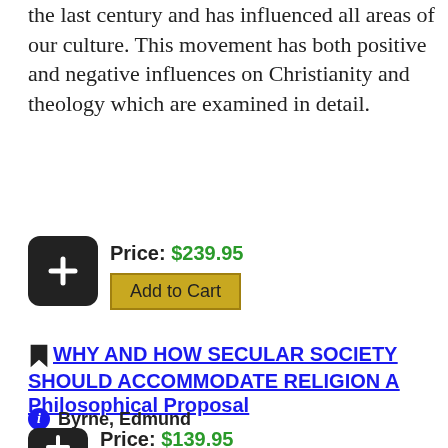the last century and has influenced all areas of our culture. This movement has both positive and negative influences on Christianity and theology which are examined in detail.
Price: $239.95
Add to Cart
WHY AND HOW SECULAR SOCIETY SHOULD ACCOMMODATE RELIGION A Philosophical Proposal
Byrne, Edmund
2010 ▲ 0-7734-3811-4 ▲ 156 pages
Price: $139.95